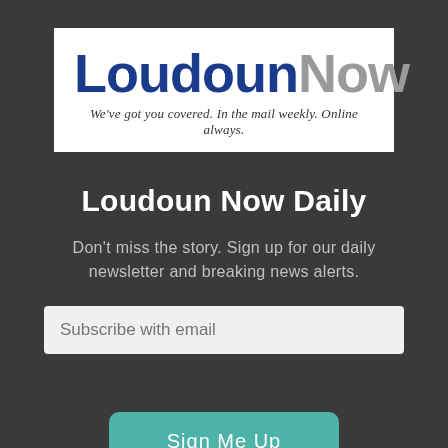[Figure (logo): LoudounNow logo with tagline: We've got you covered. In the mail weekly. Online always.]
Loudoun Now Daily
Don't miss the story. Sign up for our daily newsletter and breaking news alerts.
Subscribe with email
Sign Me Up